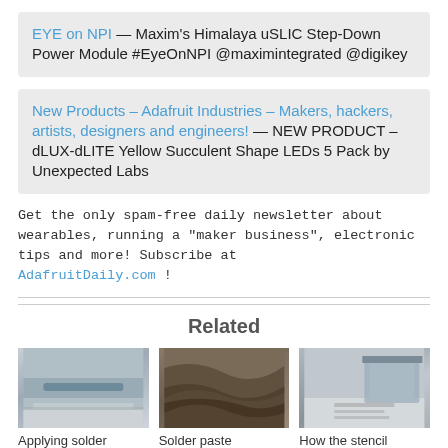EYE on NPI — Maxim's Himalaya uSLIC Step-Down Power Module #EyeOnNPI @maximintegrated @digikey
New Products – Adafruit Industries – Makers, hackers, artists, designers and engineers! — NEW PRODUCT – dLUX-dLITE Yellow Succulent Shape LEDs 5 Pack by Unexpected Labs
Get the only spam-free daily newsletter about wearables, running a "maker business", electronic tips and more! Subscribe at AdafruitDaily.com !
Related
[Figure (photo): Photo of applying solder — close-up of a solder bar/component on a PCB board in a machine]
Applying solder
[Figure (photo): Photo of solder paste — close-up of dark gray solder paste texture]
Solder paste
[Figure (photo): Photo of how the stencil — hand holding a squeegee tool over a stencil on a PCB]
How the stencil